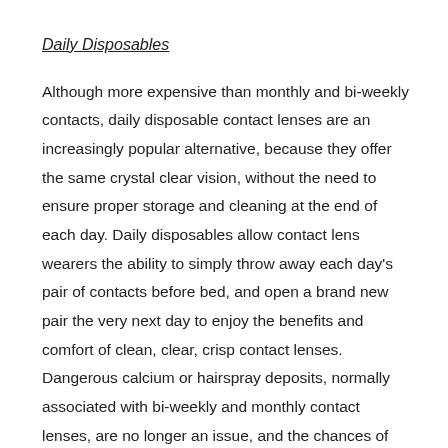Daily Disposables
Although more expensive than monthly and bi-weekly contacts, daily disposable contact lenses are an increasingly popular alternative, because they offer the same crystal clear vision, without the need to ensure proper storage and cleaning at the end of each day. Daily disposables allow contact lens wearers the ability to simply throw away each day's pair of contacts before bed, and open a brand new pair the very next day to enjoy the benefits and comfort of clean, clear, crisp contact lenses. Dangerous calcium or hairspray deposits, normally associated with bi-weekly and monthly contact lenses, are no longer an issue, and the chances of developing contact lens related eye infections, normally associated with monthly and bi-weekly contact lenses, become almost a non-issue.
Many disposable contact lenses, of all varieties, also offer tints and